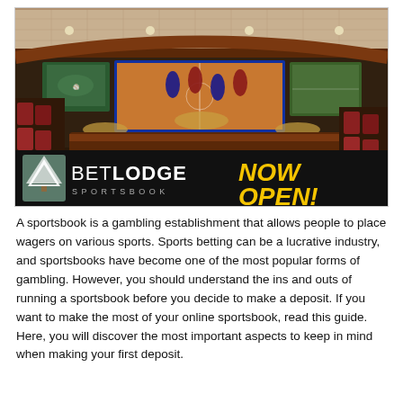[Figure (photo): Interior of a sportsbook gambling establishment with rows of chairs, a large curved counter, and multiple large video screens showing sports games. The BetLodge Sportsbook logo appears in the lower left with a tree icon, and 'NOW OPEN!' text in bold yellow on the right.]
A sportsbook is a gambling establishment that allows people to place wagers on various sports. Sports betting can be a lucrative industry, and sportsbooks have become one of the most popular forms of gambling. However, you should understand the ins and outs of running a sportsbook before you decide to make a deposit. If you want to make the most of your online sportsbook, read this guide. Here, you will discover the most important aspects to keep in mind when making your first deposit.